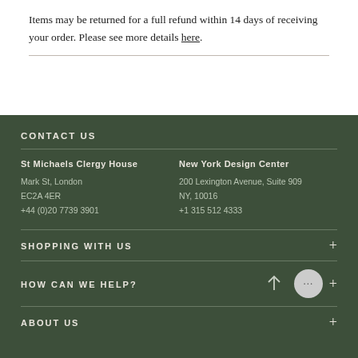Items may be returned for a full refund within 14 days of receiving your order. Please see more details here.
CONTACT US
St Michaels Clergy House
Mark St, London
EC2A 4ER
+44 (0)20 7739 3901
New York Design Center
200 Lexington Avenue, Suite 909
NY, 10016
+1 315 512 4333
SHOPPING WITH US
HOW CAN WE HELP?
ABOUT US